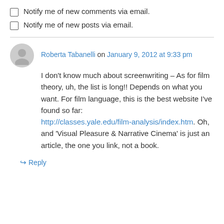Notify me of new comments via email.
Notify me of new posts via email.
Roberta Tabanelli on January 9, 2012 at 9:33 pm
I don't know much about screenwriting – As for film theory, uh, the list is long!! Depends on what you want. For film language, this is the best website I've found so far: http://classes.yale.edu/film-analysis/index.htm. Oh, and 'Visual Pleasure & Narrative Cinema' is just an article, the one you link, not a book.
↳ Reply